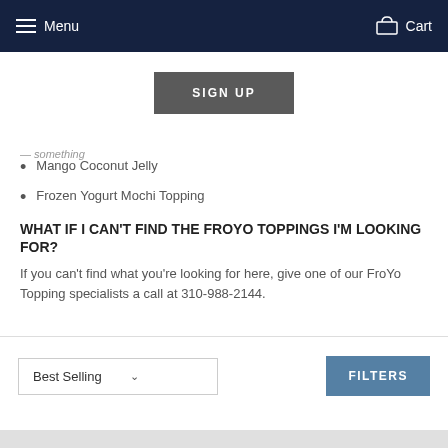Menu  Cart
SIGN UP
Mango Coconut Jelly
Frozen Yogurt Mochi Topping
WHAT IF I CAN'T FIND THE FROYO TOPPINGS I'M LOOKING FOR?
If you can't find what you're looking for here, give one of our FroYo Topping specialists a call at 310-988-2144.
Best Selling  FILTERS